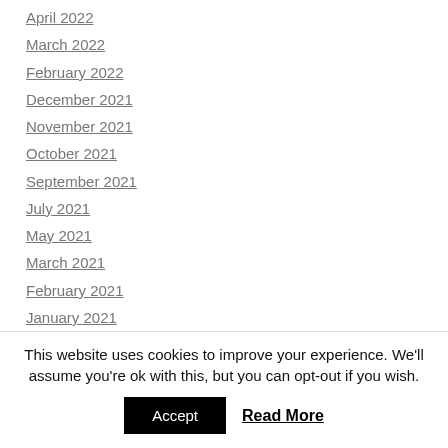April 2022
March 2022
February 2022
December 2021
November 2021
October 2021
September 2021
July 2021
May 2021
March 2021
February 2021
January 2021
December 2020
November 2020
July 2020
This website uses cookies to improve your experience. We'll assume you're ok with this, but you can opt-out if you wish.